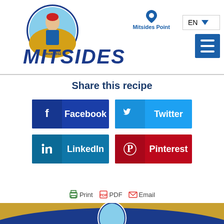[Figure (logo): Mitsides brand logo with oval portrait and text 'since 1932' and bold italic MITSIDES text]
Mitsides Point
EN
Share this recipe
[Figure (infographic): Four social sharing buttons: Facebook (dark blue), Twitter (light blue), LinkedIn (blue), Pinterest (red)]
Print  PDF  Email